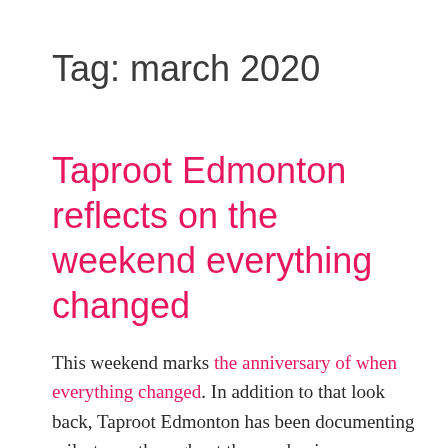Tag: march 2020
Taproot Edmonton reflects on the weekend everything changed
This weekend marks the anniversary of when everything changed. In addition to that look back, Taproot Edmonton has been documenting milestones throughout the pandemic on our COVID-19 in Edmonton timeline